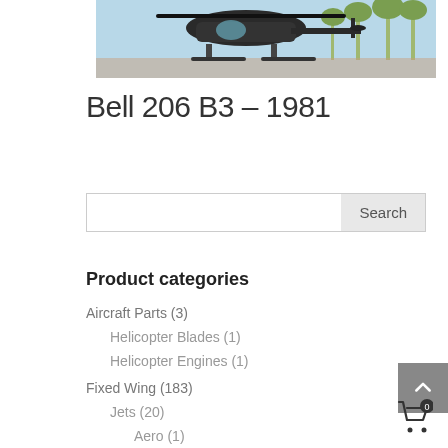[Figure (photo): Partial view of a helicopter (Bell 206 B3) hovering with palm trees in the background, cropped at the top of the page.]
Bell 206 B3 – 1981
Search
Product categories
Aircraft Parts (3)
Helicopter Blades (1)
Helicopter Engines (1)
Fixed Wing (183)
Jets (20)
Aero (1)
Aerospace (0)